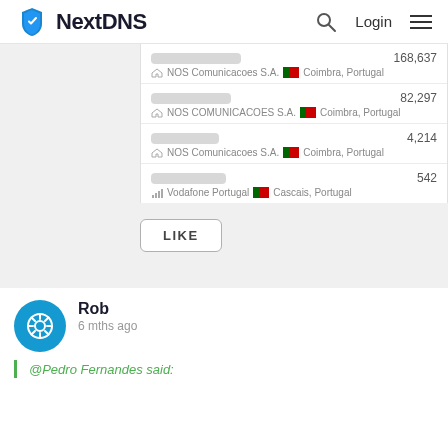NextDNS | Login
NOS Comunicacoes S.A. | Coimbra, Portugal | 168,637
NOS COMUNICACOES S.A. | Coimbra, Portugal | 82,297
NOS Comunicacoes S.A. | Coimbra, Portugal | 4,214
Vodafone Portugal | Cascais, Portugal | 542
LIKE
Rob
6 mths ago
@Pedro Fernandes said: